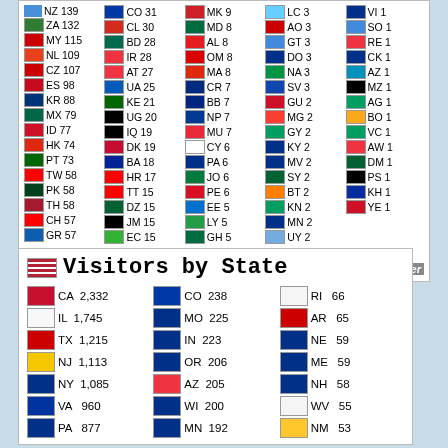[Figure (infographic): Flag counter widget showing country visitor flags and counts in a 5-column grid. Countries include NZ 139, ZA 132, MY 115, NL 109, CZ 107, ES 98, KR 88, MX 79, ID 77, HK 74, PT 73, TW 58, PK 58, TH 58, CH 57, GR 57 and many more. Flags Collected: 153. Flag counter logo at bottom right.]
[Figure (infographic): Visitors by State widget showing US state flags and visitor counts. CA 2,332 | CO 238 | RI 66 | IL 1,745 | MO 225 | AR 65 | TX 1,215 | IN 223 | NE 59 | NJ 1,113 | OR 206 | ME 59 | NY 1,085 | AZ 205 | NH 58 | VA 960 | WI 200 | WV 55 | PA 877 | MN 192 | NM 53]